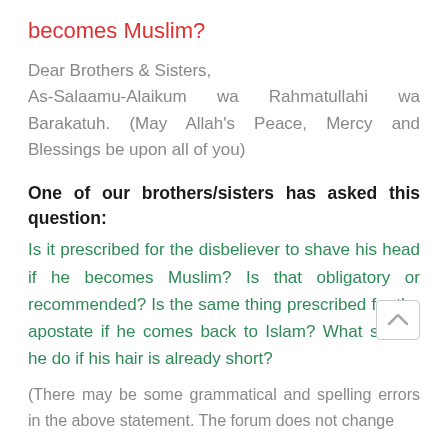becomes Muslim?
Dear Brothers & Sisters,
As-Salaamu-Alaikum wa Rahmatullahi wa Barakatuh. (May Allah's Peace, Mercy and Blessings be upon all of you)
One of our brothers/sisters has asked this question:
Is it prescribed for the disbeliever to shave his head if he becomes Muslim? Is that obligatory or recommended? Is the same thing prescribed for the apostate if he comes back to Islam? What should he do if his hair is already short?
(There may be some grammatical and spelling errors in the above statement. The forum does not change